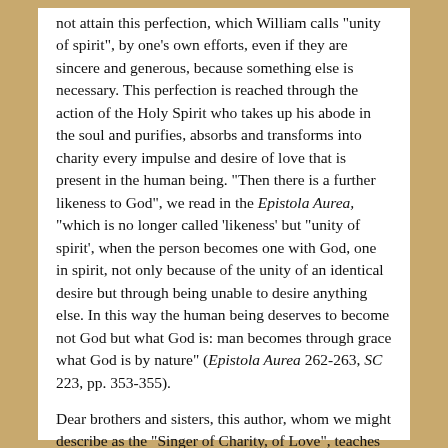not attain this perfection, which William calls "unity of spirit", by one's own efforts, even if they are sincere and generous, because something else is necessary. This perfection is reached through the action of the Holy Spirit who takes up his abode in the soul and purifies, absorbs and transforms into charity every impulse and desire of love that is present in the human being. "Then there is a further likeness to God", we read in the Epistola Aurea, "which is no longer called 'likeness' but "unity of spirit', when the person becomes one with God, one in spirit, not only because of the unity of an identical desire but through being unable to desire anything else. In this way the human being deserves to become not God but what God is: man becomes through grace what God is by nature" (Epistola Aurea 262-263, SC 223, pp. 353-355).
Dear brothers and sisters, this author, whom we might describe as the "Singer of Charity, of Love", teaches us to make the basic decision in our lives which gives meaning and value to all our other